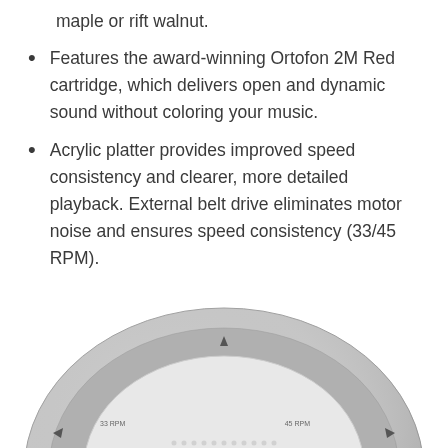maple or rift walnut.
Features the award-winning Ortofon 2M Red cartridge, which delivers open and dynamic sound without coloring your music.
Acrylic platter provides improved speed consistency and clearer, more detailed playback. External belt drive eliminates motor noise and ensures speed consistency (33/45 RPM).
Precision gimbal tonearm for accurate tracking and low distortion. Features internal anti-skate and adjustable counterweight.
[Figure (photo): Close-up photo of a turntable platter showing the metallic/chrome outer ring and white perforated mat, viewed from above at a slight angle.]